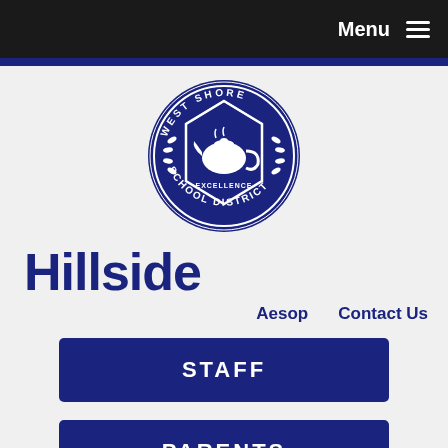Menu ☰
[Figure (logo): West Shore School District circular seal/logo in dark blue and white, featuring a teapot in the center pentagon shape, with text reading WEST SHORE around the top and SCHOOL DISTRICT around the bottom, and EXCELLENCE inside]
Hillside
Aesop    Contact Us
STAFF
PARENTS